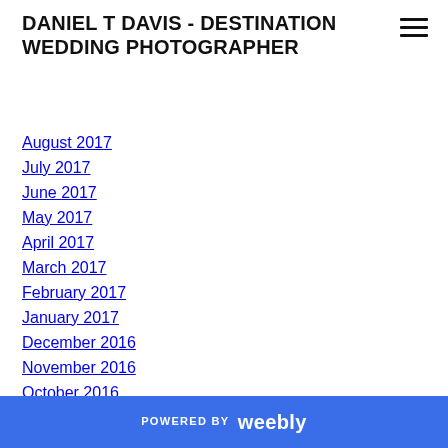DANIEL T DAVIS - DESTINATION WEDDING PHOTOGRAPHER
August 2017
July 2017
June 2017
May 2017
April 2017
March 2017
February 2017
January 2017
December 2016
November 2016
October 2016
September 2016
August 2016
July 2016
POWERED BY weebly